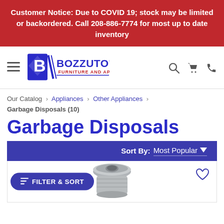Customer Notice: Due to COVID 19; stock may be limited or backordered. Call 208-886-7774 for most up to date inventory
[Figure (logo): Bozzuto's Furniture and Appliance logo with navigation icons (hamburger menu, search, cart, phone)]
Our Catalog › Appliances › Other Appliances › Garbage Disposals (10)
Garbage Disposals
Sort By: Most Popular
[Figure (photo): Garbage disposal product image (metal cylindrical unit) with heart/wishlist icon and Filter & Sort button]